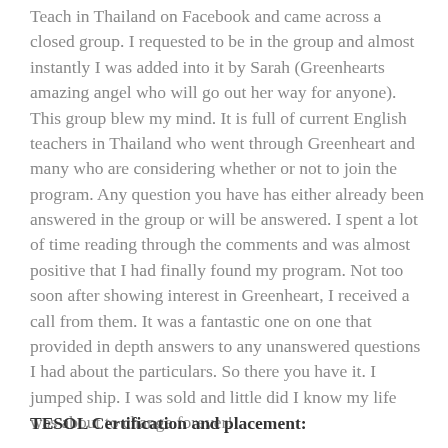Teach in Thailand on Facebook and came across a closed group. I requested to be in the group and almost instantly I was added into it by Sarah (Greenhearts amazing angel who will go out her way for anyone). This group blew my mind. It is full of current English teachers in Thailand who went through Greenheart and many who are considering whether or not to join the program. Any question you have has either already been answered in the group or will be answered. I spent a lot of time reading through the comments and was almost positive that I had finally found my program. Not too soon after showing interest in Greenheart, I received a call from them. It was a fantastic one on one that provided in depth answers to any unanswered questions I had about the particulars. So there you have it. I jumped ship. I was sold and little did I know my life was about to change forever!
TESOL Certification and placement: